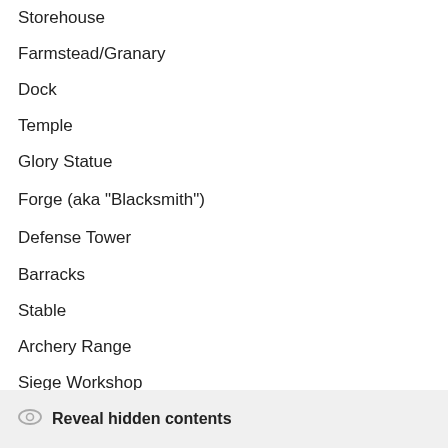Storehouse
Farmstead/Granary
Dock
Temple
Glory Statue
Forge (aka "Blacksmith")
Defense Tower
Barracks
Stable
Archery Range
Siege Workshop
Fortress
Reveal hidden contents